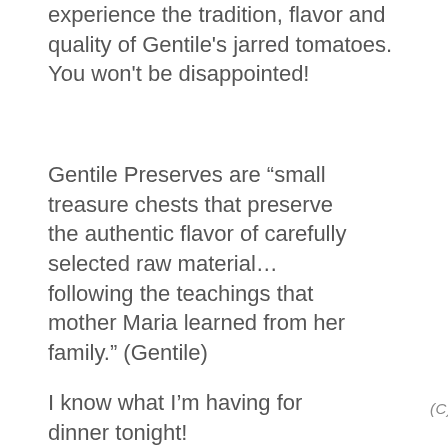experience the tradition, flavor and quality of Gentile's jarred tomatoes. You won't be disappointed!
Gentile Preserves are “small treasure chests that preserve the authentic flavor of carefully selected raw material… following the teachings that mother Maria learned from her family.” (Gentile)
I know what I’m having for dinner tonight!
(C) 2015 LUCIANO FURIA